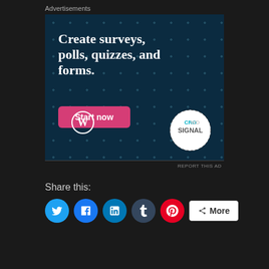Advertisements
[Figure (illustration): Advertisement banner for Crowdsignal/WordPress showing 'Create surveys, polls, quizzes, and forms.' with a Start now button, WordPress logo, and Crowdsignal circular logo on a dark teal dotted background.]
REPORT THIS AD
Share this:
[Figure (other): Social share buttons: Twitter (blue circle), Facebook (blue circle), LinkedIn (blue circle), Tumblr (dark blue circle), Pinterest (red circle), and a More button]